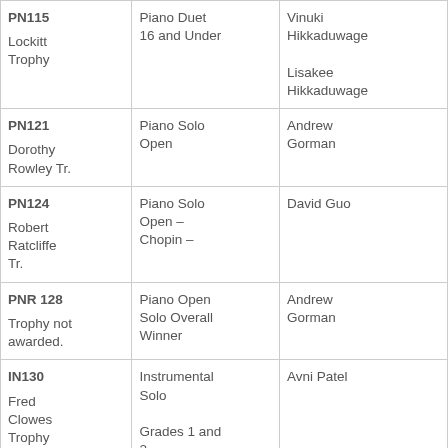| PN115
Lockitt Trophy | Piano Duet 16 and Under | Vinuki Hikkaduwage
Lisakee Hikkaduwage |
| PN121
Dorothy Rowley Tr. | Piano Solo Open | Andrew Gorman |
| PN124
Robert Ratcliffe Tr. | Piano Solo Open – Chopin – | David Guo |
| PNR 128
Trophy not awarded. | Piano Open Solo Overall Winner | Andrew Gorman |
| IN130
Fred Clowes Trophy | Instrumental Solo
Grades 1 and 2 | Avni Patel |
|  | Instrumental |  |